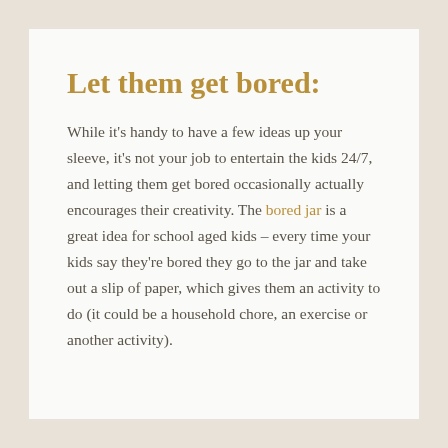Let them get bored:
While it's handy to have a few ideas up your sleeve, it's not your job to entertain the kids 24/7, and letting them get bored occasionally actually encourages their creativity. The bored jar is a great idea for school aged kids – every time your kids say they're bored they go to the jar and take out a slip of paper, which gives them an activity to do (it could be a household chore, an exercise or another activity).